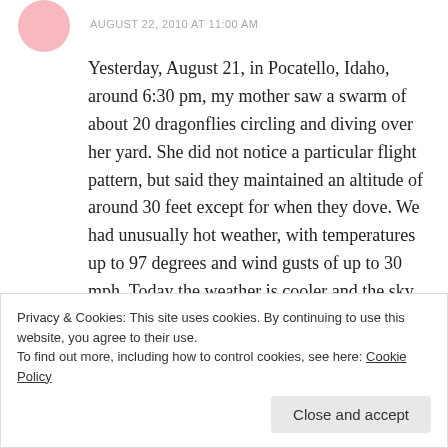AUGUST 22, 2010 AT 11:00 AM
Yesterday, August 21, in Pocatello, Idaho, around 6:30 pm, my mother saw a swarm of about 20 dragonflies circling and diving over her yard. She did not notice a particular flight pattern, but said they maintained an altitude of around 30 feet except for when they dove. We had unusually hot weather, with temperatures up to 97 degrees and wind gusts of up to 30 mph. Today the weather is cooler and the sky is smoky. We had a major fire to the west
Privacy & Cookies: This site uses cookies. By continuing to use this website, you agree to their use.
To find out more, including how to control cookies, see here: Cookie Policy
Close and accept